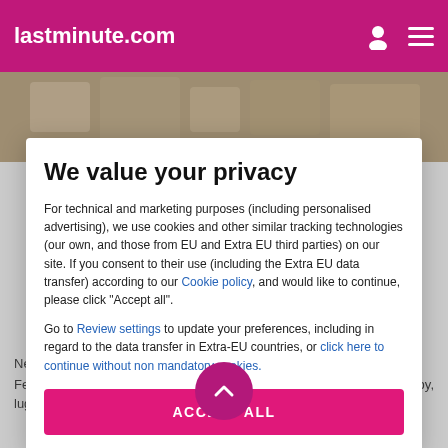lastminute.com
[Figure (photo): Background photo of hotel or travel destination, partially visible behind modal dialog]
We value your privacy
For technical and marketing purposes (including personalised advertising), we use cookies and other similar tracking technologies (our own, and those from EU and Extra EU third parties) on our site. If you consent to their use (including the Extra EU data transfer) according to our Cookie policy, and would like to continue, please click "Accept all".
Go to Review settings to update your preferences, including in regard to the data transfer in Extra-EU countries, or click here to continue without non mandatory cookies.
ACCEPT ALL
Near Train Station Square
Featured amenities include complimentary newspapers in the lobby, luggage storage, and a library. Self parking (subject to